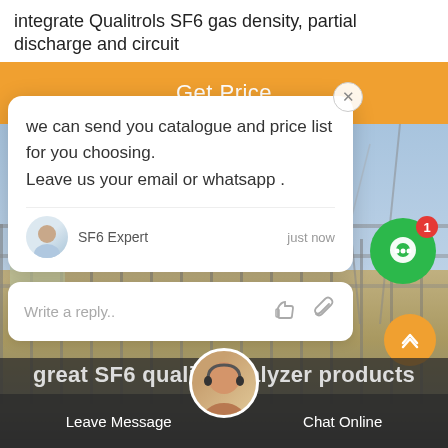integrate Qualitrols SF6 gas density, partial discharge and circuit
[Figure (screenshot): Orange 'Get Price' button banner]
[Figure (screenshot): Chat popup with message: we can send you catalogue and price list for you choosing. Leave us your email or whatsapp . | Agent: SF6 Expert, just now | Reply input box | Green chat bubble with badge 1 | Orange scroll-up button]
[Figure (photo): Background photo of electrical substation infrastructure with fencing and cranes]
great SF6 quality analyzer products
Leave Message   Chat Online